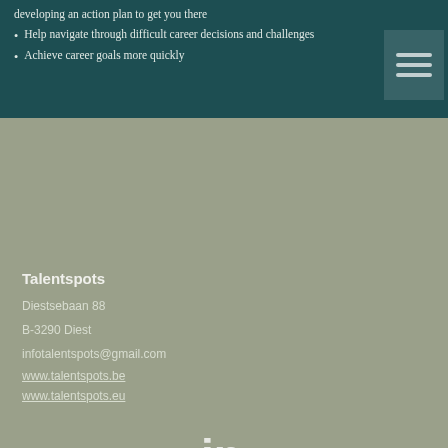developing an action plan to get you there
Help navigate through difficult career decisions and challenges
Achieve career goals more quickly
Talentspots
Diestsebaan 88
B-3290 Diest
infotalentspots@gmail.com
www.talentspots.be
www.talentspots.eu
[Figure (logo): LinkedIn logo icon (in) in white on sage green background]